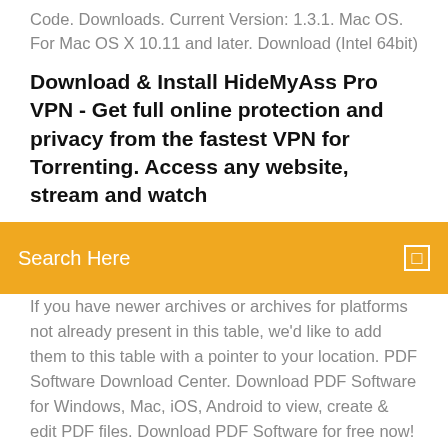Code. Downloads. Current Version: 1.3.1. Mac OS. For Mac OS X 10.11 and later. Download (Intel 64bit)
Download & Install HideMyAss Pro VPN - Get full online protection and privacy from the fastest VPN for Torrenting. Access any website, stream and watch
[Figure (other): Orange search bar with white text 'Search Here' and a small square icon on the right]
If you have newer archives or archives for platforms not already present in this table, we'd like to add them to this table with a pointer to your location. PDF Software Download Center. Download PDF Software for Windows, Mac, iOS, Android to view, create & edit PDF files. Download PDF Software for free now! Depending on the version of MacOS you are running, there is typically a cap on "the newest version of Java you can run", and therefore, a newest version of JOSM you can run. Newest Version OF Utorrent FREE Download Features 3. Characteristics bitorrent mac download 842. For torrent i